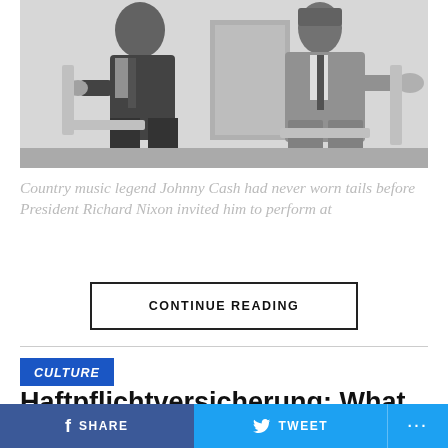[Figure (photo): Black and white photo of two men in suits sitting in chairs having a conversation, likely in an official setting]
Country music legend Johnny Cash had never worn tails before President Richard Nixon invited him to perform at
CONTINUE READING
CULTURE
Haftpflichtversicherung: What is G...
SHARE   TWEET   ...